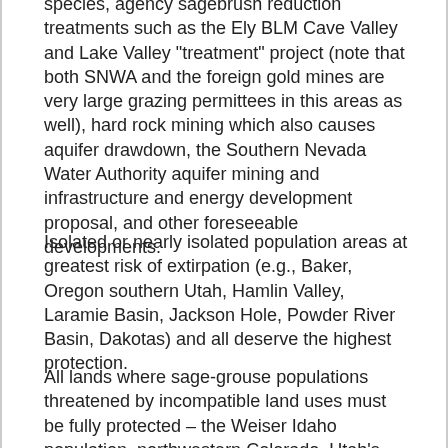species, agency sagebrush reduction treatments such as the Ely BLM Cave Valley and Lake Valley "treatment" project (note that both SNWA and the foreign gold mines are very large grazing permittees in this areas as well), hard rock mining which also causes aquifer drawdown, the Southern Nevada Water Authority aquifer mining and infrastructure and energy development proposal, and other foreseeable developments.
Isolated or nearly isolated population areas at greatest risk of extirpation (e.g., Baker, Oregon southern Utah, Hamlin Valley, Laramie Basin, Jackson Hole, Powder River Basin, Dakotas) and all deserve the highest protection.
All lands where sage-grouse populations threatened by incompatible land uses must be fully protected – the Weiser Idaho population, northwestern Colorado, Utah's Parker Mountain, the Powder River Basin,